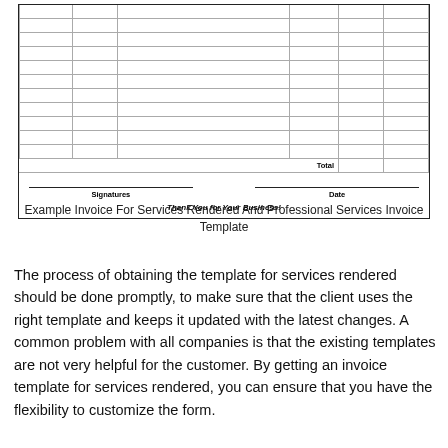|  |  |  |  |  |  |
| --- | --- | --- | --- | --- | --- |
|  |  |  |  |  |  |
|  |  |  |  |  |  |
|  |  |  |  |  |  |
|  |  |  |  |  |  |
|  |  |  |  |  |  |
|  |  |  |  |  |  |
|  |  |  |  |  |  |
|  |  |  |  |  |  |
|  |  |  |  |  |  |
|  |  |  |  |  |  |
|  |  |  |  |  |  |
|  |  | Total |  |  |  |
Example Invoice For Services Rendered And Professional Services Invoice Template
The process of obtaining the template for services rendered should be done promptly, to make sure that the client uses the right template and keeps it updated with the latest changes. A common problem with all companies is that the existing templates are not very helpful for the customer. By getting an invoice template for services rendered, you can ensure that you have the flexibility to customize the form.